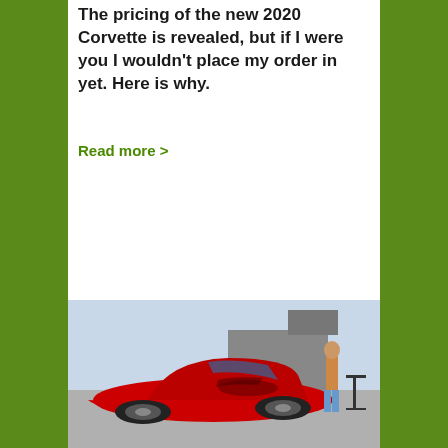The pricing of the new 2020 Corvette is revealed, but if I were you I wouldn't place my order in yet. Here is why.
Read more >
[Figure (photo): A red 2020 Corvette sports car parked at an event or dealership, with a person standing nearby next to a table.]